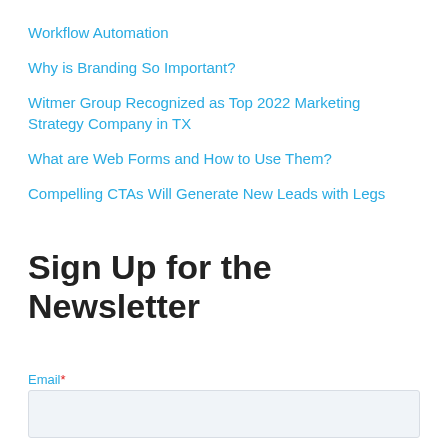Workflow Automation
Why is Branding So Important?
Witmer Group Recognized as Top 2022 Marketing Strategy Company in TX
What are Web Forms and How to Use Them?
Compelling CTAs Will Generate New Leads with Legs
Sign Up for the Newsletter
Email*